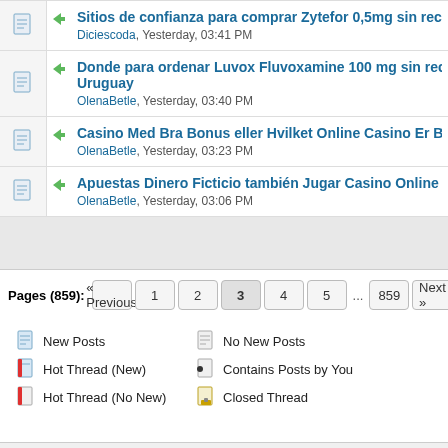Sitios de confianza para comprar Zytefor 0,5mg sin receta c… — Diciescoda, Yesterday, 03:41 PM
Donde para ordenar Luvox Fluvoxamine 100 mg sin receta Uruguay — OlenaBetle, Yesterday, 03:40 PM
Casino Med Bra Bonus eller Hvilket Online Casino Er Best… — OlenaBetle, Yesterday, 03:23 PM
Apuestas Dinero Ficticio también Jugar Casino Online Con… — OlenaBetle, Yesterday, 03:06 PM
Pages (859): « Previous 1 2 3 4 5 … 859 Next »
New Posts | No New Posts | Hot Thread (New) | Contains Posts by You | Hot Thread (No New) | Closed Thread
Forum Team   Contact Us   Cheney WA US   Return to Top   Lite (Archive) Mod…
Powered By MyBB, © 2002-2022 MyBB Group.